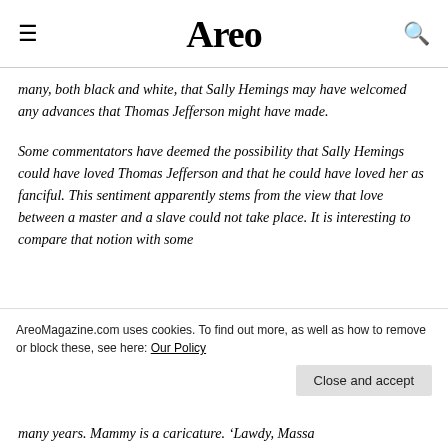Areo
many, both black and white, that Sally Hemings may have welcomed any advances that Thomas Jefferson might have made.
Some commentators have deemed the possibility that Sally Hemings could have loved Thomas Jefferson and that he could have loved her as fanciful. This sentiment apparently stems from the view that love between a master and a slave could not take place. It is interesting to compare that notion with some
many years. Mammy is a caricature. 'Lawdy, Massa
AreoMagazine.com uses cookies. To find out more, as well as how to remove or block these, see here: Our Policy